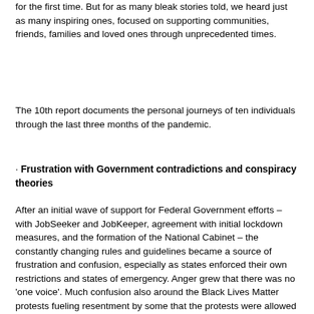for the first time. But for as many bleak stories told, we heard just as many inspiring ones, focused on supporting communities, friends, families and loved ones through unprecedented times.
The 10th report documents the personal journeys of ten individuals through the last three months of the pandemic.
• Frustration with Government contradictions and conspiracy theories
After an initial wave of support for Federal Government efforts – with JobSeeker and JobKeeper, agreement with initial lockdown measures, and the formation of the National Cabinet – the constantly changing rules and guidelines became a source of frustration and confusion, especially as states enforced their own restrictions and states of emergency. Anger grew that there was no 'one voice'. Much confusion also around the Black Lives Matter protests fueling resentment by some that the protests were allowed to proceed despite risks of community infection. Interestingly, the Protestor testing positive sparked conspiracy theories it was all made up to